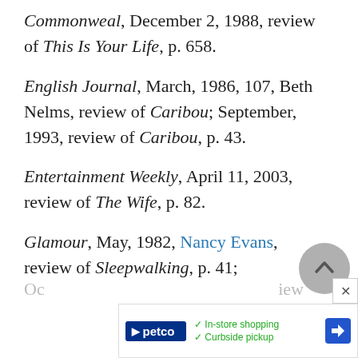Commonweal, December 2, 1988, review of This Is Your Life, p. 658.
English Journal, March, 1986, 107, Beth Nelms, review of Caribou; September, 1993, review of Caribou, p. 43.
Entertainment Weekly, April 11, 2003, review of The Wife, p. 82.
Glamour, May, 1982, Nancy Evans, review of Sleepwalking, p. 41;
Oc[tober ...] iew